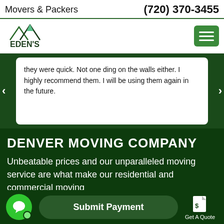Movers & Packers   (720) 370-3455
[Figure (logo): Eden's Moving Services logo with mountain peaks in teal/dark colors]
they were quick. Not one ding on the walls either. I highly recommend them. I will be using them again in the future.
DENVER MOVING COMPANY
Unbeatable prices and our unparalleled moving service are what make our residential and commercial moving
Submit Payment   Get A Quote